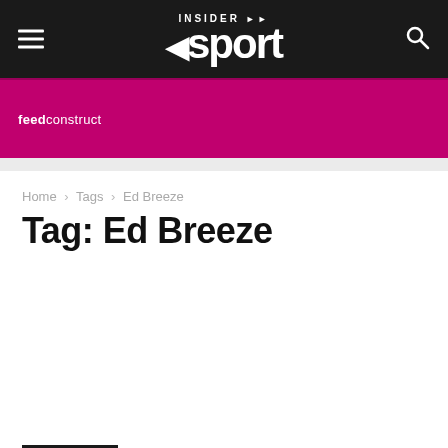INSIDER Sport
[Figure (logo): feedconstruct advertisement banner in magenta/pink color]
Home › Tags › Ed Breeze
Tag: Ed Breeze
[Figure (photo): Article image placeholder area (blank white)]
Media Rights
DAZN scores multi-territory Joshua vs Usyk